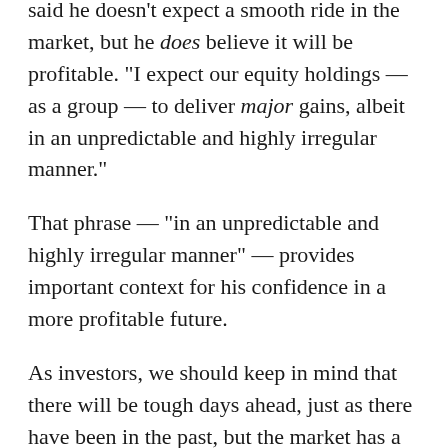Warren Buffett looks to the future and said he doesn't expect a smooth ride in the market, but he does believe it will be profitable. “I expect our equity holdings — as a group — to deliver major gains, albeit in an unpredictable and highly irregular manner.”
That phrase — “in an unpredictable and highly irregular manner” — provides important context for his confidence in a more profitable future.
As investors, we should keep in mind that there will be tough days ahead, just as there have been in the past, but the market has a long history of eventually shrugging off such days. In the long run, optimistic investors — those who stay with their plan come what may — always end up better off than the pessimists who let fear get the